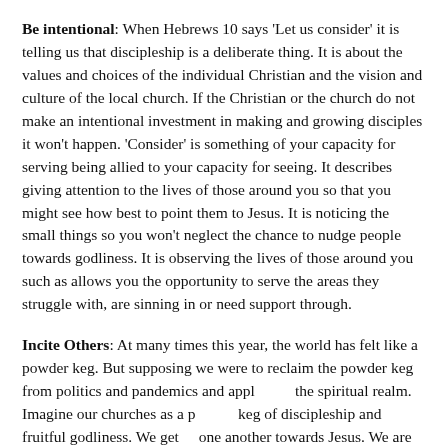Be intentional: When Hebrews 10 says 'Let us consider' it is telling us that discipleship is a deliberate thing. It is about the values and choices of the individual Christian and the vision and culture of the local church. If the Christian or the church do not make an intentional investment in making and growing disciples it won't happen. 'Consider' is something of your capacity for serving being allied to your capacity for seeing. It describes giving attention to the lives of those around you so that you might see how best to point them to Jesus. It is noticing the small things so you won't neglect the chance to nudge people towards godliness. It is observing the lives of those around you such as allows you the opportunity to serve the areas they struggle with, are sinning in or need support through.
Incite Others: At many times this year, the world has felt like a powder keg. But supposing we were to reclaim the powder keg from politics and pandemics and apply it to the spiritual realm. Imagine our churches as a powder keg of discipleship and fruitful godliness. We get to spur one another towards Jesus. We are instructed here to stir up one another towards sanctification. We...